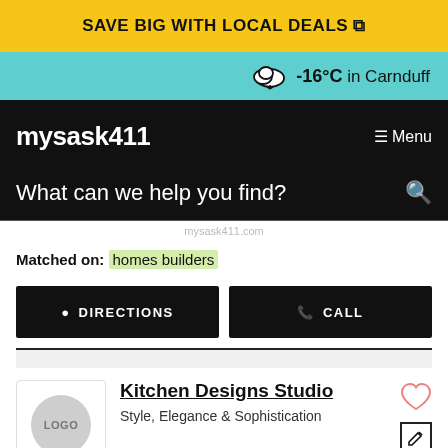SAVE BIG WITH LOCAL DEALS
-16°C in Carnduff
mysask411
Menu
What can we help you find?
Matched on: homes builders
DIRECTIONS
CALL
Kitchen Designs Studio
Style, Elegance & Sophistication